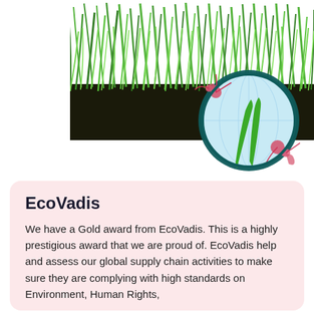[Figure (photo): Artificial green grass turf sample with a circular inset/magnification showing a close-up of the grass blade with a teal blue globe-like background and red flower/bacteria imagery overlaid, suggesting environmental or sustainability theme.]
EcoVadis
We have a Gold award from EcoVadis. This is a highly prestigious award that we are proud of. EcoVadis help and assess our global supply chain activities to make sure they are complying with high standards on Environment, Human Rights,